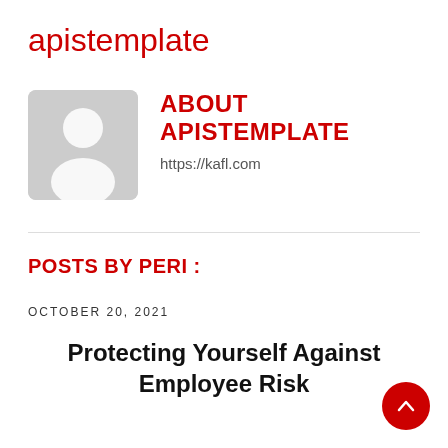apistemplate
[Figure (illustration): Generic user avatar placeholder — rounded rectangle with grey background, white silhouette of a person (head and shoulders)]
ABOUT APISTEMPLATE
https://kafl.com
POSTS BY PERI :
OCTOBER 20, 2021
Protecting Yourself Against Employee Risk